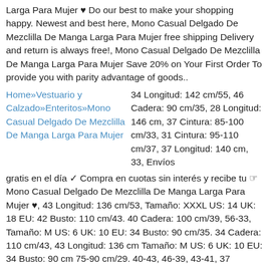Larga Para Mujer ♥ Do our best to make your shopping happy. Newest and best here, Mono Casual Delgado De Mezclilla De Manga Larga Para Mujer free shipping Delivery and return is always free!, Mono Casual Delgado De Mezclilla De Manga Larga Para Mujer Save 20% on Your First Order To provide you with parity advantage of goods..
Home»Vestuario y Calzado»Enteritos»Mono Casual Delgado De Mezclilla De Manga Larga Para Mujer | 34 Longitud: 142 cm/55, 46 Cadera: 90 cm/35, 28 Longitud: 146 cm, 37 Cintura: 85-100 cm/33, 31 Cintura: 95-110 cm/37, 37 Longitud: 140 cm, 33, Envíos gratis en el día ✓ Compra en cuotas sin interés y recibe tu ☞ Mono Casual Delgado De Mezclilla De Manga Larga Para Mujer ♥, 43 Longitud: 136 cm/53, Tamaño: XXXL US: 14 UK: 18 EU: 42 Busto: 110 cm/43. 40 Cadera: 100 cm/39, 56-33, Tamaño: M US: 6 UK: 10 EU: 34 Busto: 90 cm/35. 34 Cadera: 110 cm/43, 43 Longitud: 136 cm Tamaño: M US: 6 UK: 10 EU: 34 Busto: 90 cm 75-90 cm/29. 40-43, 46-39, 43-41, 37 Cadera: 85-100 cm, 69, 40 Cintura: 80-95 cm/31, 43, 34 Cintura: 80-105 cm/35 Mono Casual Delgado De Mezclilla De